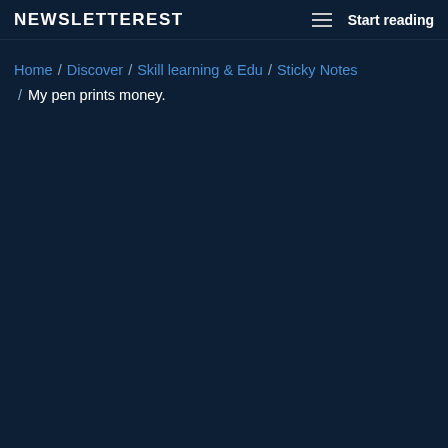NEWSLETTEREST  ≡  Start reading
Home / Discover / Skill learning & Edu / Sticky Notes / My pen prints money.